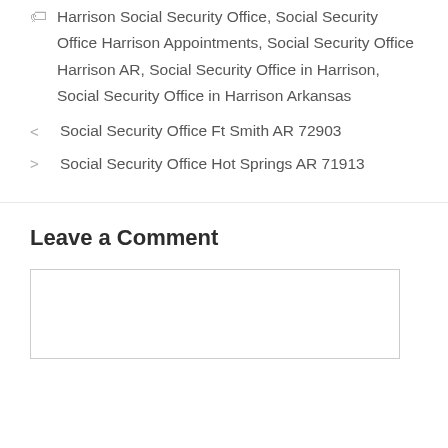Harrison Social Security Office, Social Security Office Harrison Appointments, Social Security Office Harrison AR, Social Security Office in Harrison, Social Security Office in Harrison Arkansas
< Social Security Office Ft Smith AR 72903
> Social Security Office Hot Springs AR 71913
Leave a Comment